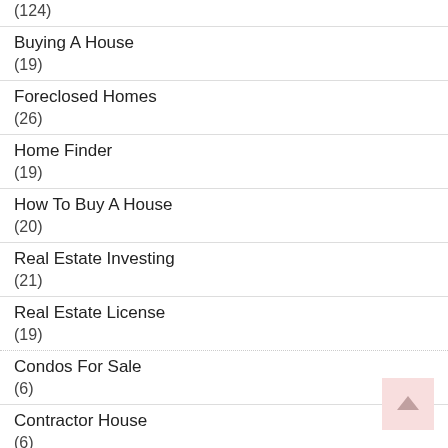(124)
Buying A House
(19)
Foreclosed Homes
(26)
Home Finder
(19)
How To Buy A House
(20)
Real Estate Investing
(21)
Real Estate License
(19)
Condos For Sale
(6)
Contractor House
(6)